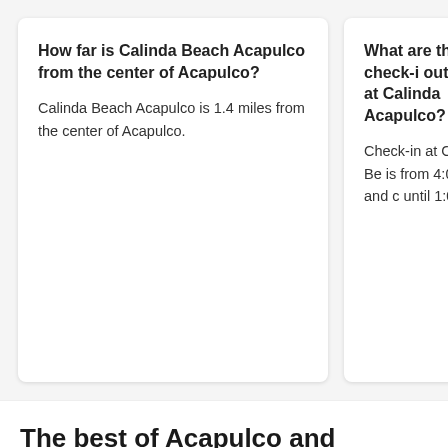How far is Calinda Beach Acapulco from the center of Acapulco?
Calinda Beach Acapulco is 1.4 miles from the center of Acapulco.
What are the check-in and check-out times at Calinda Beach Acapulco?
Check-in at Calinda Beach Acapulco is from 4:00 PM, and check-out is until 1:00 PM.
The best of Acapulco and beyond
Landmarks
Cities
Airports
Acapulco Convention